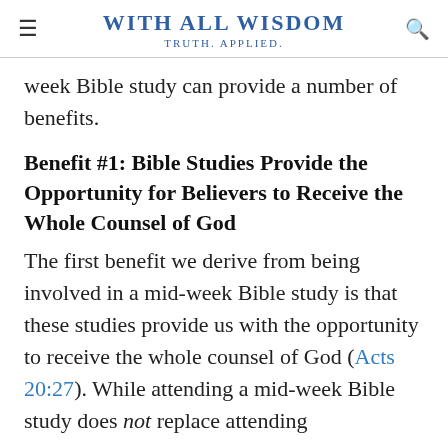WITH ALL WISDOM — TRUTH. APPLIED.
week Bible study can provide a number of benefits.
Benefit #1: Bible Studies Provide the Opportunity for Believers to Receive the Whole Counsel of God
The first benefit we derive from being involved in a mid-week Bible study is that these studies provide us with the opportunity to receive the whole counsel of God (Acts 20:27). While attending a mid-week Bible study does not replace attending